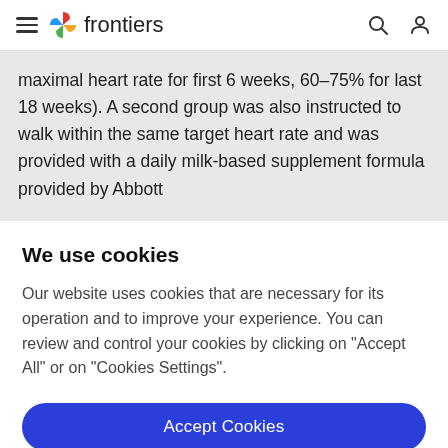frontiers
maximal heart rate for first 6 weeks, 60–75% for last 18 weeks). A second group was also instructed to walk within the same target heart rate and was provided with a daily milk-based supplement formula provided by Abbott
We use cookies
Our website uses cookies that are necessary for its operation and to improve your experience. You can review and control your cookies by clicking on "Accept All" or on "Cookies Settings".
Accept Cookies
Cookies Settings